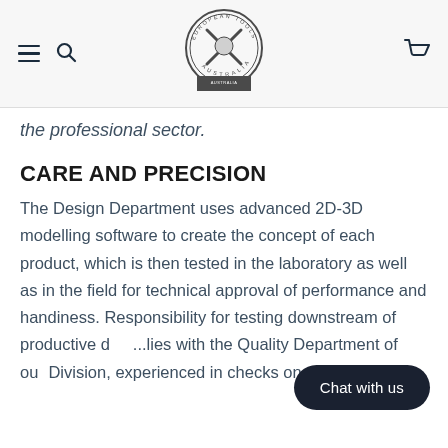European Tools Australia — navigation header with hamburger menu, search, logo, and cart icons
the professional sector.
CARE AND PRECISION
The Design Department uses advanced 2D-3D modelling software to create the concept of each product, which is then tested in the laboratory as well as in the field for technical approval of performance and handiness. Responsibility for testing downstream of productive d... lies with the Quality Department of ou... Division, experienced in checks on mechanical,